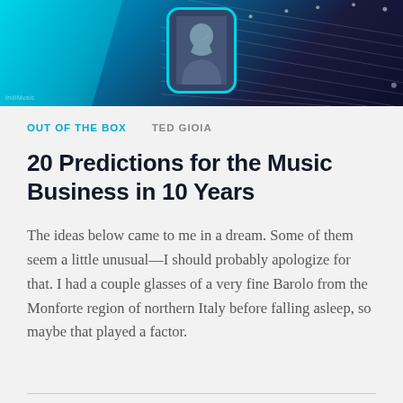[Figure (illustration): Banner image with teal and dark navy background featuring diagonal abstract lines and a portrait photo of a man in a suit thinking, in a rounded teal-bordered frame, with 'IndiMusic' watermark visible in lower left]
OUT OF THE BOX   TED GIOIA
20 Predictions for the Music Business in 10 Years
The ideas below came to me in a dream. Some of them seem a little unusual—I should probably apologize for that. I had a couple glasses of a very fine Barolo from the Monforte region of northern Italy before falling asleep, so maybe that played a factor.